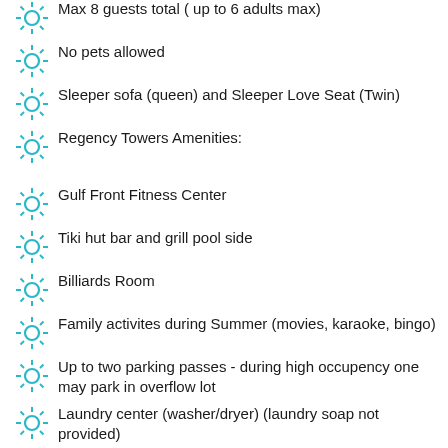Max 8 guests total ( up to 6 adults max)
No pets allowed
Sleeper sofa (queen) and Sleeper Love Seat (Twin)
Regency Towers Amenities:
Gulf Front Fitness Center
Tiki hut bar and grill pool side
Billiards Room
Family activites during Summer (movies, karaoke, bingo)
Up to two parking passes - during high occupency one may park in overflow lot
Laundry center (washer/dryer) (laundry soap not provided)
Pets are NOT allowed.
Pack 'n Play and Baby chair/tray available